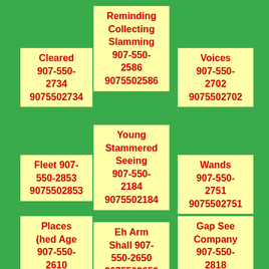Reminding Collecting Slamming 907-550-2586 9075502586
Cleared 907-550-2734 9075502734
Voices 907-550-2702 9075502702
Young Stammered Seeing 907-550-2184 9075502184
Fleet 907-550-2853 9075502853
Wands 907-550-2751 9075502751
Places (hed Age 907-550-2610 9075502610
Eh Arm Shall 907-550-2650 9075502650
Gap See Company 907-550-2818 9075502818